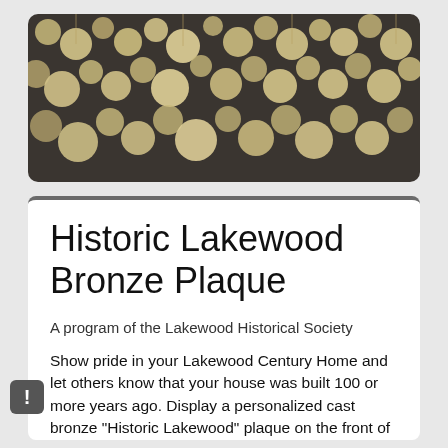[Figure (photo): Decorative banner image showing hanging gold/cream circular disc ornaments on strings against a dark background, displayed in a rounded rectangle frame.]
Historic Lakewood Bronze Plaque
A program of the Lakewood Historical Society
Show pride in your Lakewood Century Home and let others know that your house was built 100 or more years ago. Display a personalized cast bronze "Historic Lakewood" plaque on the front of your house.
A cast, solid bronze plaque is available for purchase by owners of Lakewood Century Homes. The 5" X 7" oval plaque is hand cast and prominently features